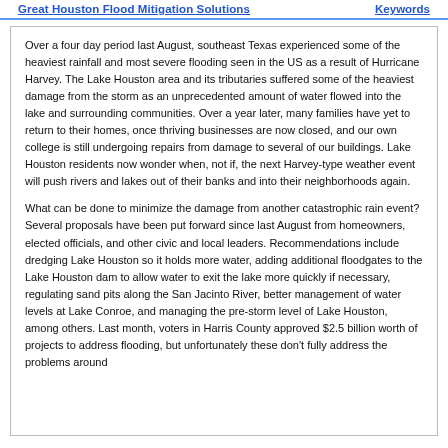Great Houston Flood Mitigation Solutions | Keywords
Over a four day period last August, southeast Texas experienced some of the heaviest rainfall and most severe flooding seen in the US as a result of Hurricane Harvey. The Lake Houston area and its tributaries suffered some of the heaviest damage from the storm as an unprecedented amount of water flowed into the lake and surrounding communities. Over a year later, many families have yet to return to their homes, once thriving businesses are now closed, and our own college is still undergoing repairs from damage to several of our buildings. Lake Houston residents now wonder when, not if, the next Harvey-type weather event will push rivers and lakes out of their banks and into their neighborhoods again.
What can be done to minimize the damage from another catastrophic rain event? Several proposals have been put forward since last August from homeowners, elected officials, and other civic and local leaders. Recommendations include dredging Lake Houston so it holds more water, adding additional floodgates to the Lake Houston dam to allow water to exit the lake more quickly if necessary, regulating sand pits along the San Jacinto River, better management of water levels at Lake Conroe, and managing the pre-storm level of Lake Houston, among others. Last month, voters in Harris County approved $2.5 billion worth of projects to address flooding, but unfortunately these don't fully address the problems around